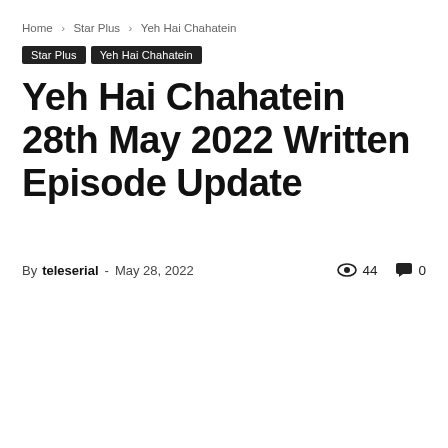Home › Star Plus › Yeh Hai Chahatein
Star Plus   Yeh Hai Chahatein
Yeh Hai Chahatein 28th May 2022 Written Episode Update
By teleserial - May 28, 2022   44   0